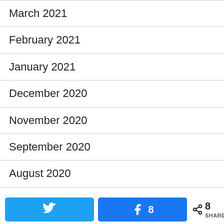March 2021
February 2021
January 2021
December 2020
November 2020
September 2020
August 2020
July 2020
May 2020
April 2020
Twitter share button, Facebook 8 shares button, 8 SHARES